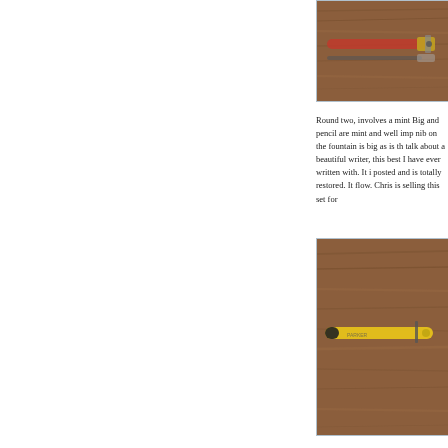[Figure (photo): Close-up photo of pen/pencil set on wood grain surface, showing metal clips and orange/gold pen details]
Round two, involves a mint Big and pencil are mint and well imp nib on the fountain is big as is th talk about a beautiful writer, this best I have ever written with. It i posted and is totally restored. It flow. Chris is selling this set for
[Figure (photo): Photo of a yellow Parker pen/pencil on wood grain surface, showing yellow barrel with black end cap and clip]
Round three is a mint Parker Ma designated and this pen is both